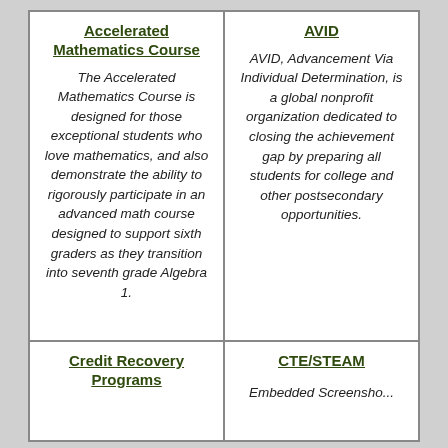Accelerated Mathematics Course
The Accelerated Mathematics Course is designed for those exceptional students who love mathematics, and also demonstrate the ability to rigorously participate in an advanced math course designed to support sixth graders as they transition into seventh grade Algebra 1.
AVID
AVID, Advancement Via Individual Determination, is a global nonprofit organization dedicated to closing the achievement gap by preparing all students for college and other postsecondary opportunities.
Credit Recovery Programs
CTE/STEAM